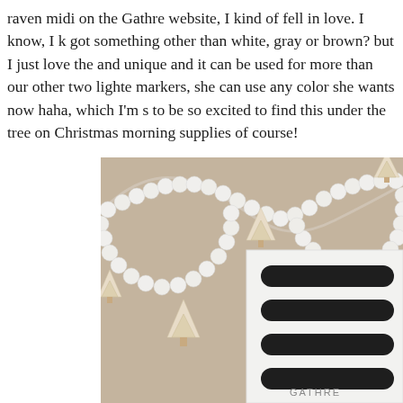raven midi on the Gathre website, I kind of fell in love. I know, I k got something other than white, gray or brown? but I just love the and unique and it can be used for more than our other two lighte markers, she can use any color she wants now haha, which I'm s to be so excited to find this under the tree on Christmas morning supplies of course!
[Figure (photo): Flatlay photo on kraft/brown paper background showing a white bead garland arranged in a curved S-shape, several small cream/white bottle-brush Christmas trees scattered around, and a white card holder/organizer in the bottom right corner with four dark oval/rounded-rectangle slots for holding markers or pens.]